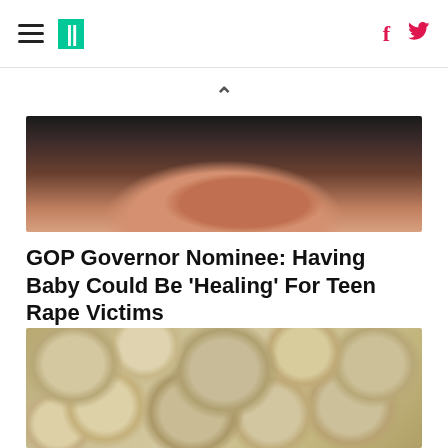HuffPost navigation header with hamburger menu, logo, Facebook and Twitter icons
[Figure (photo): Close-up photo of a woman's face showing lower half, with dark hair and pink lips, dark background]
GOP Governor Nominee: Having Baby Could Be 'Healing' For Teen Rape Victims
HuffPost
[Figure (photo): Close-up photo of many garlic bulbs piled together, showing beige/tan colored garlic heads with dried stems]